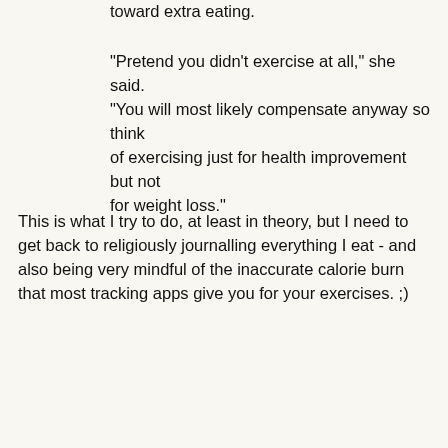toward extra eating.
"Pretend you didn't exercise at all," she said. "You will most likely compensate anyway so think of exercising just for health improvement but not for weight loss."
This is what I try to do, at least in theory, but I need to get back to religiously journalling everything I eat - and also being very mindful of the inaccurate calorie burn that most tracking apps give you for your exercises. ;)